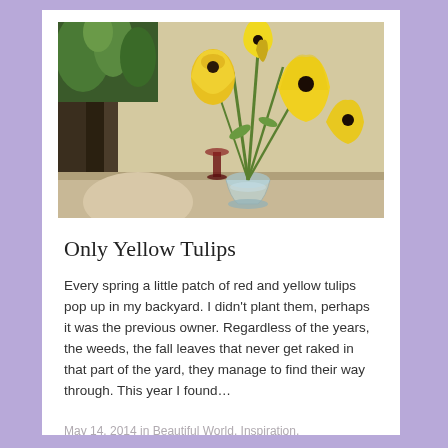[Figure (photo): Yellow tulips in a glass vase on a table, with green plants and dark furniture in the background]
Only Yellow Tulips
Every spring a little patch of red and yellow tulips pop up in my backyard. I didn't plant them, perhaps it was the previous owner. Regardless of the years, the weeds, the fall leaves that never get raked in that part of the yard, they manage to find their way through. This year I found…
May 14, 2014 in Beautiful World, Inspiration, Photography.